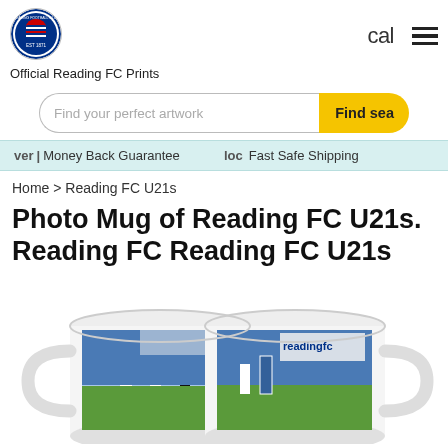[Figure (logo): Reading FC circular club crest logo]
cal
≡ (hamburger menu)
Official Reading FC Prints
[Figure (other): Search bar with text 'Find your perfect artwork' and yellow 'Find se' button]
vet Money Back Guarantee   loc Fast Safe Shipping
Home > Reading FC U21s
Photo Mug of Reading FC U21s. Reading FC Reading FC U21s
[Figure (photo): Two white ceramic mugs showing Reading FC U21s football players on a pitch with blue stadium seats in background]